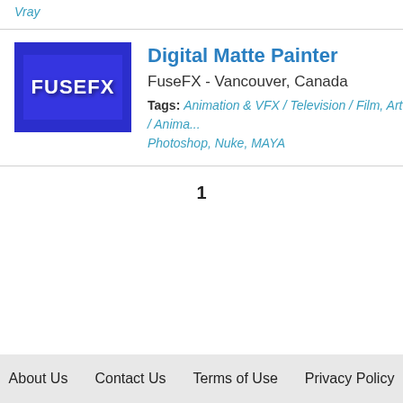Vray
[Figure (logo): FuseFX company logo — blue rectangle with FUSEFX text in white]
Digital Matte Painter
FuseFX - Vancouver, Canada
Tags: Animation & VFX / Television / Film, Art / Anima... Photoshop, Nuke, MAYA
1
About Us   Contact Us   Terms of Use   Privacy Policy